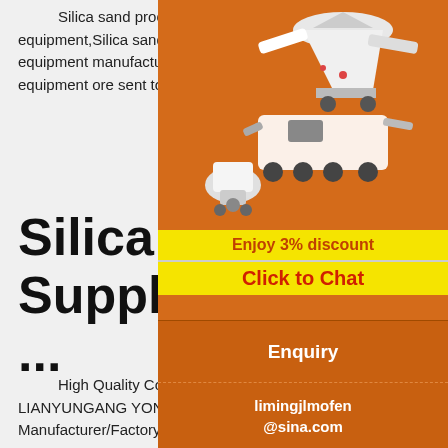Silica sand processing plants for sale in USA,Shanghai XSM is a professional ore crusher equipment,Silica sand processing plants for sale in USA, mechanical beneficiation equipment, ore milling equipment manufacturers.Ore mining process, the first belt conveyor, vibrating feeder, conveyor equipment ore sent to the jaw crusher, impact crusher, hydraulic crusher is a crushing raw ore, and
Silica sand Manufacturers & Suppliers, China silica sand ...
[Figure (illustration): Orange sidebar advertisement showing mining/crushing machinery equipment (cone crusher, jaw crusher, and related machines) on an orange background with 'Enjoy 3% discount' in yellow bar and 'Click to Chat' in yellow/red bar]
Enquiry
limingjlmofen@sina.com
High Quality Colorful Silica Sand with Competitive Price for Epoxy Floor Sand. Inquiry Basket. LIANYUNGANG YONGSIN QUARTZ CO., LT... Favorites. Gold Member. Business Type: Manufacturer/Factory , Trading Company. Main